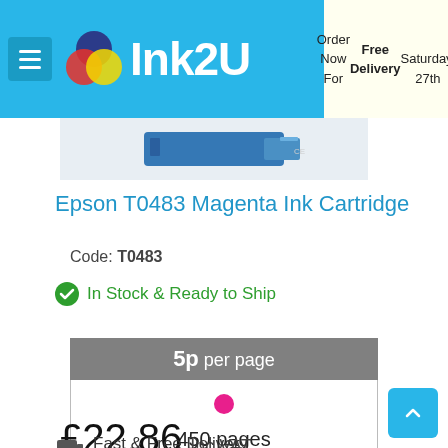Ink2U | Order Now For Free Delivery Saturday, 27th
[Figure (photo): Epson T0483 Magenta ink cartridge product image]
Epson T0483 Magenta Ink Cartridge
Code: T0483
In Stock & Ready to Ship
[Figure (infographic): Cost per page indicator showing 5p per page with magenta dot and 450 pages yield]
£22.86 Inc VAT
Fast & Free Delivery